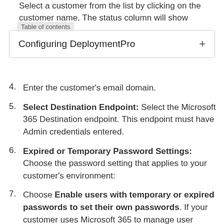Select a customer from the list by clicking on the customer name. The status column will show
Table of contents
Configuring DeploymentPro
4. Enter the customer's email domain.
5. Select Destination Endpoint: Select the Microsoft 365 Destination endpoint. This endpoint must have Admin credentials entered.
6. Expired or Temporary Password Settings: Choose the password setting that applies to your customer's environment:
7. Choose Enable users with temporary or expired passwords to set their own passwords. If your customer uses Microsoft 365 to manage user accounts and password policies. With this setting selected, the DeploymentPro wizard that runs on the customer's computers will prompt users to enter a